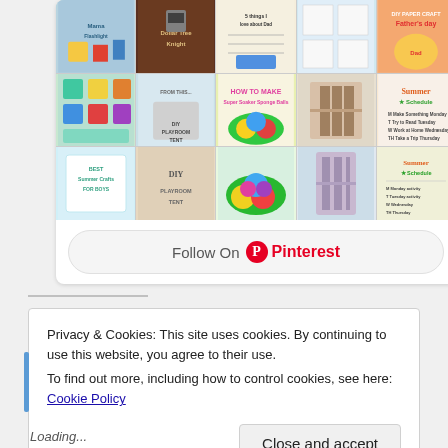[Figure (photo): Pinterest widget showing a mosaic collage of craft and DIY project images including Father's Day crafts, summer schedule, paper crafts, Dollar Tree Knight, DIY Playroom Tent, Super Soaker Sponge Balls, and Best Summer Crafts for Boys]
Follow On Pinterest
Privacy & Cookies: This site uses cookies. By continuing to use this website, you agree to their use.
To find out more, including how to control cookies, see here: Cookie Policy
Close and accept
Loading...